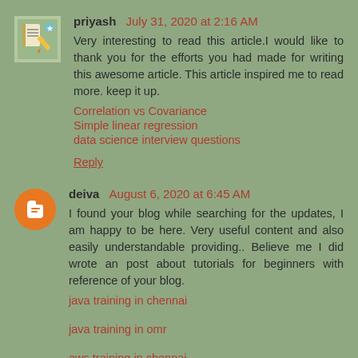priyash July 31, 2020 at 2:16 AM
Very interesting to read this article.I would like to thank you for the efforts you had made for writing this awesome article. This article inspired me to read more. keep it up.
Correlation vs Covariance
Simple linear regression
data science interview questions
Reply
deiva August 6, 2020 at 6:45 AM
I found your blog while searching for the updates, I am happy to be here. Very useful content and also easily understandable providing.. Believe me I did wrote an post about tutorials for beginners with reference of your blog.
java training in chennai
java training in omr
aws training in chennai